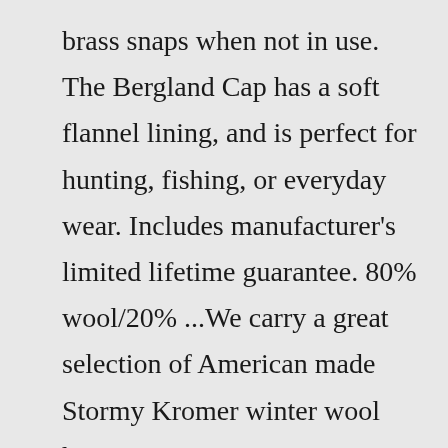brass snaps when not in use. The Bergland Cap has a soft flannel lining, and is perfect for hunting, fishing, or everyday wear. Includes manufacturer's limited lifetime guarantee. 80% wool/20% ...We carry a great selection of American made Stormy Kromer winter wool hats at PFI Western Store! Free shipping on all orders over $75! Free Shipping On Orders Over $75* ... Men's Outlet Clothing; Women's Outlet